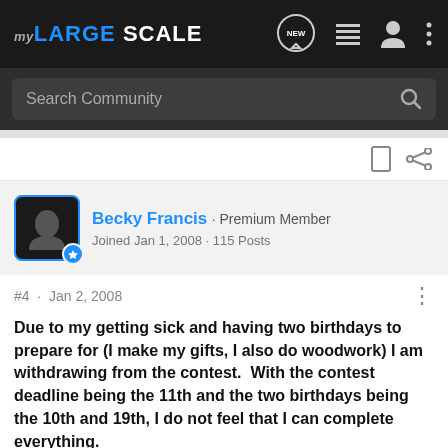my LARGE SCALE
Search Community
Becky Francis · Premium Member
Joined Jan 1, 2008 · 115 Posts
#4 · Jan 2, 2008
Due to my getting sick and having two birthdays to prepare for (I make my gifts, I also do woodwork) I am withdrawing from the contest.  With the contest deadline being the 11th and the two birthdays being the 10th and 19th, I do not feel that I can complete everything.
Sorry/Providers/HtmlEditorProviders/Fck/FCKeditor/editor/images/smiley/msn/sad_smile.gif   However, the contest is a great idea